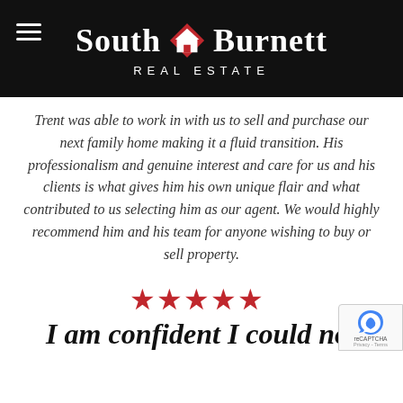South Burnett REAL ESTATE
Trent was able to work in with us to sell and purchase our next family home making it a fluid transition. His professionalism and genuine interest and care for us and his clients is what gives him his own unique flair and what contributed to us selecting him as our agent. We would highly recommend him and his team for anyone wishing to buy or sell property.
[Figure (other): Five red star rating icons]
I am confident I could not